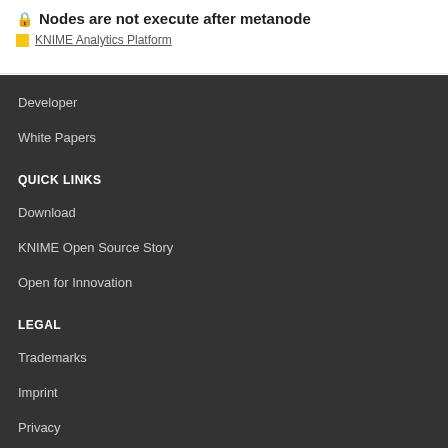Nodes are not execute after metanode
KNIME Analytics Platform
Developer
White Papers
QUICK LINKS
Download
KNIME Open Source Story
Open for Innovation
LEGAL
Trademarks
Imprint
Privacy